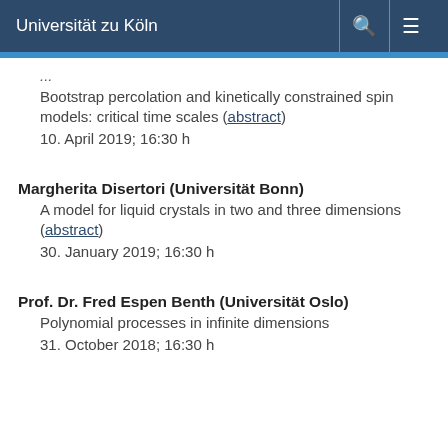Universität zu Köln
Bootstrap percolation and kinetically constrained spin models: critical time scales (abstract)
10. April 2019; 16:30 h
Margherita Disertori (Universität Bonn)
A model for liquid crystals in two and three dimensions (abstract)
30. January 2019; 16:30 h
Prof. Dr. Fred Espen Benth (Universität Oslo)
Polynomial processes in infinite dimensions
31. October 2018; 16:30 h